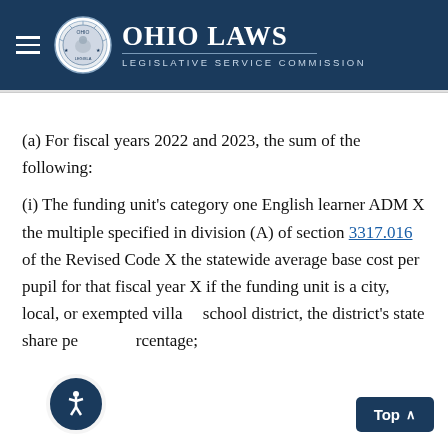Ohio Laws — Legislative Service Commission
(a) For fiscal years 2022 and 2023, the sum of the following:
(i) The funding unit's category one English learner ADM X the multiple specified in division (A) of section 3317.016 of the Revised Code X the statewide average base cost per pupil for that fiscal year X if the funding unit is a city, local, or exempted village school district, the district's state share percentage;